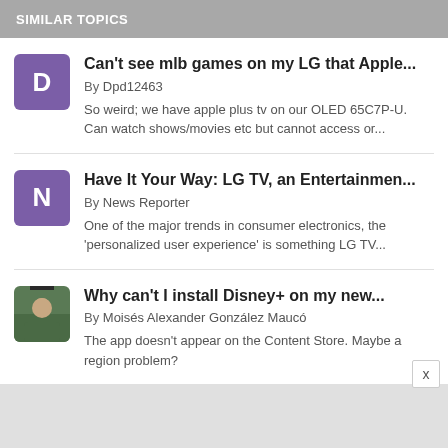SIMILAR TOPICS
Can't see mlb games on my LG that Apple... By Dpd12463 So weird; we have apple plus tv on our OLED 65C7P-U. Can watch shows/movies etc but cannot access or...
Have It Your Way: LG TV, an Entertainmen... By News Reporter One of the major trends in consumer electronics, the 'personalized user experience' is something LG TV...
Why can't I install Disney+ on my new... By Moisés Alexander González Maucó The app doesn't appear on the Content Store. Maybe a region problem?